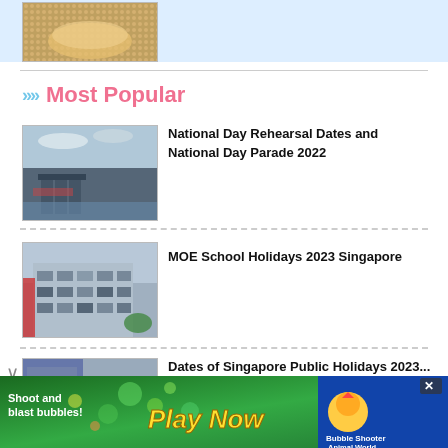[Figure (photo): Food photo in a bowl, top portion visible]
Most Popular
[Figure (photo): Marina Bay Sands, Singapore skyline with clouds]
National Day Rehearsal Dates and National Day Parade 2022
[Figure (photo): MOE school building exterior]
MOE School Holidays 2023 Singapore
[Figure (photo): Singapore public building, partially visible]
Dates of Singapore Public Holidays 2023...
[Figure (screenshot): Advertisement banner: Shoot and blast bubbles! Play Now - Bubble Shooter Animal World]